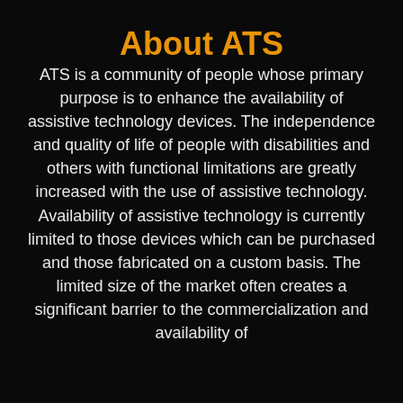About ATS
ATS is a community of people whose primary purpose is to enhance the availability of assistive technology devices. The independence and quality of life of people with disabilities and others with functional limitations are greatly increased with the use of assistive technology. Availability of assistive technology is currently limited to those devices which can be purchased and those fabricated on a custom basis. The limited size of the market often creates a significant barrier to the commercialization and availability of